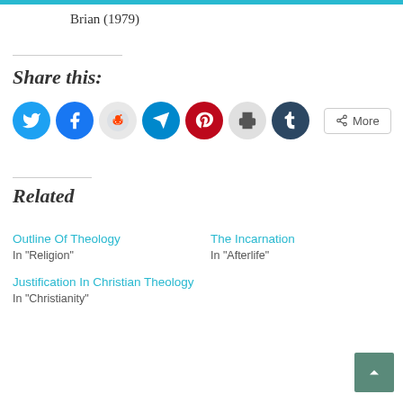Brian (1979)
Share this:
[Figure (infographic): Row of social media share buttons: Twitter (blue), Facebook (blue), Reddit (light gray), Telegram (teal), Pinterest (red), Print (light gray), Tumblr (dark navy), and a More button]
Related
Outline Of Theology
In "Religion"
The Incarnation
In "Afterlife"
Justification In Christian Theology
In "Christianity"